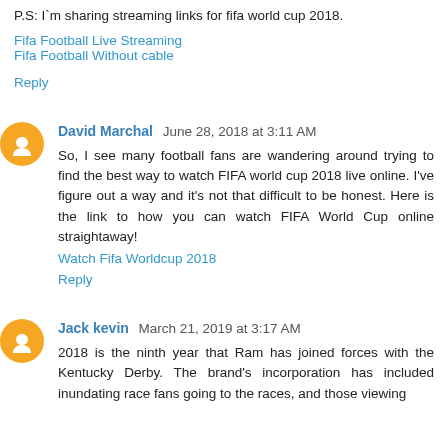P.S: I`m sharing streaming links for fifa world cup 2018.
Fifa Football Live Streaming
Fifa Football Without cable
Reply
David Marchal  June 28, 2018 at 3:11 AM
So, I see many football fans are wandering around trying to find the best way to watch FIFA world cup 2018 live online. I've figure out a way and it's not that difficult to be honest. Here is the link to how you can watch FIFA World Cup online straightaway!
Watch Fifa Worldcup 2018
Reply
Jack kevin  March 21, 2019 at 3:17 AM
2018 is the ninth year that Ram has joined forces with the Kentucky Derby. The brand's incorporation has included inundating race fans going to the races, and those viewing